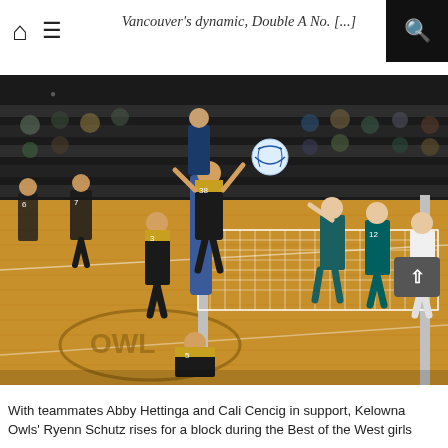🏠  ≡  [search]  Vancouver's dynamic, Double A No. [...]
Vancouver's dynamic, Double A No. [...]
[Figure (photo): Volleyball game in a high school gymnasium with black and gold uniforms. Players at the net with one rising for a block. Spectators visible in the background bleachers.]
With teammates Abby Hettinga and Cali Cencig in support, Kelowna Owls' Ryenn Schutz rises for a block during the Best of the West girls